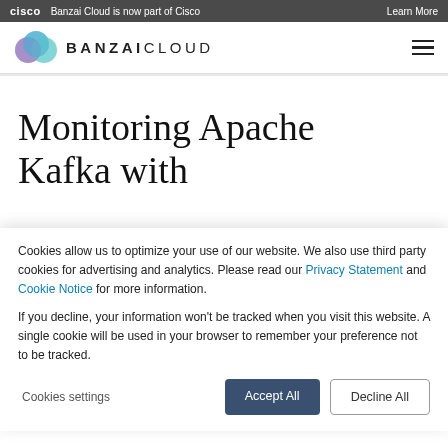Banzai Cloud is now part of Cisco  Learn More
[Figure (logo): Banzai Cloud logo with abstract overlapping circles in purple, blue, and teal, and the text BANZAICLOUD]
Monitoring Apache Kafka with
Cookies allow us to optimize your use of our website. We also use third party cookies for advertising and analytics. Please read our Privacy Statement and Cookie Notice for more information.

If you decline, your information won't be tracked when you visit this website. A single cookie will be used in your browser to remember your preference not to be tracked.
Cookies settings  Accept All  Decline All